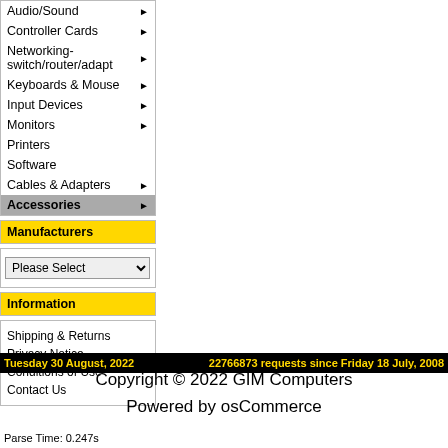Audio/Sound ▶
Controller Cards ▶
Networking-switch/router/adapt ▶
Keyboards & Mouse ▶
Input Devices ▶
Monitors ▶
Printers
Software
Cables & Adapters ▶
Accessories ▶
Manufacturers
Please Select
Information
Shipping & Returns
Privacy Notice
Conditions of Use
Contact Us
Tuesday 30 August, 2022    22766873 requests since Friday 18 July, 2008
Copyright © 2022 GIM Computers
Powered by osCommerce
Parse Time: 0.247s